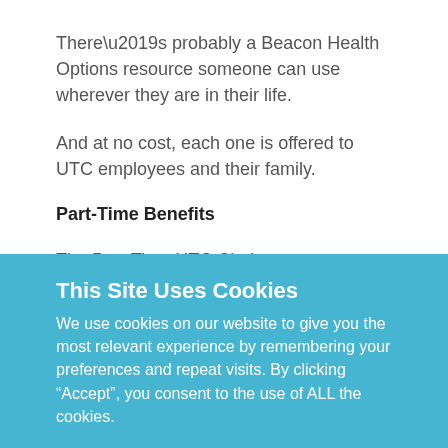There’s probably a Beacon Health Options resource someone can use wherever they are in their life.
And at no cost, each one is offered to UTC employees and their family.
Part-Time Benefits
The Part-Time UTC Choice program was designed for employees who are not full-time at UTC but are working 20 to 35 hours per week.
This Site Uses Cookies
We use cookies on our website to give you the most relevant experience by remembering your preferences and repeat visits. By clicking “Accept”, you consent to the use of ALL the cookies.
Cookie settings
ACCEPT